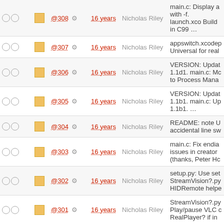|  |  | Rev | Age | Author | Message |
| --- | --- | --- | --- | --- | --- |
| ○ ○ | ■ | @308 ⚙ | 16 years | Nicholas Riley | main.c: Display a with -f. launch.xco Build in C99 … |
| ○ ○ | ■ | @307 ⚙ | 16 years | Nicholas Riley | appswitch.xcodep Universal for real |
| ○ ○ | ■ | @306 ⚙ | 16 years | Nicholas Riley | VERSION: Updat 1.1d1. main.c: Mc to Process Mana |
| ○ ○ | ■ | @305 ⚙ | 16 years | Nicholas Riley | VERSION: Updat 1.1b1. main.c: Up 1.1b1. … |
| ○ ○ | ■ | @304 ⚙ | 16 years | Nicholas Riley | README: note U accidental line sw |
| ○ ○ | ■ | @303 ⚙ | 16 years | Nicholas Riley | main.c: Fix endia issues in creator (thanks, Peter Hc |
| ○ ○ | ■ | @302 ⚙ | 16 years | Nicholas Riley | setup.py: Use set StreamVision?.py HIDRemote helpe |
| ○ ○ | ■ | @301 ⚙ | 16 years | Nicholas Riley | StreamVision?.py Play/pause VLC c RealPlayer? if in |
| ○ ○ | ■ | @300 ⚙ | 16 years | Nicholas Riley | HIDRemotemod Support for Logite |